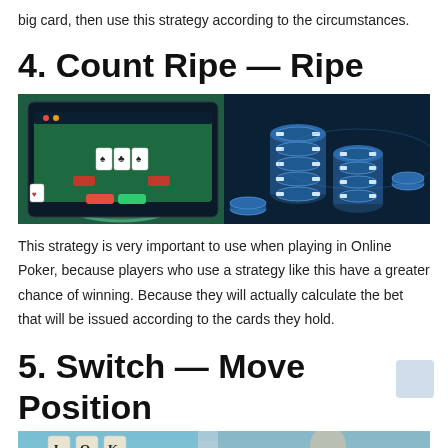big card, then use this strategy according to the circumstances.
4. Count Ripe — Ripe
[Figure (photo): Online poker game screenshot on left showing a green poker table with cards and chips on screen; stacked blue and white casino chips on right against dark blue background.]
This strategy is very important to use when playing in Online Poker, because players who use a strategy like this have a greater chance of winning. Because they will actually calculate the bet that will be issued according to the cards they hold.
5. Switch — Move Position
[Figure (photo): Bottom portion of an image showing playing cards (Jack, Queen, King visible) with a person in background, partially cropped.]